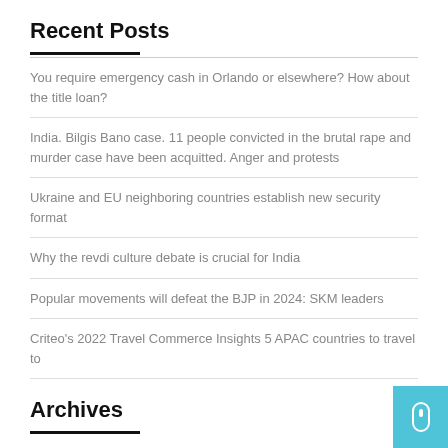Recent Posts
You require emergency cash in Orlando or elsewhere? How about the title loan?
India. Bilgis Bano case. 11 people convicted in the brutal rape and murder case have been acquitted. Anger and protests
Ukraine and EU neighboring countries establish new security format
Why the revdi culture debate is crucial for India
Popular movements will defeat the BJP in 2024: SKM leaders
Criteo's 2022 Travel Commerce Insights 5 APAC countries to travel to
Archives
August 2022